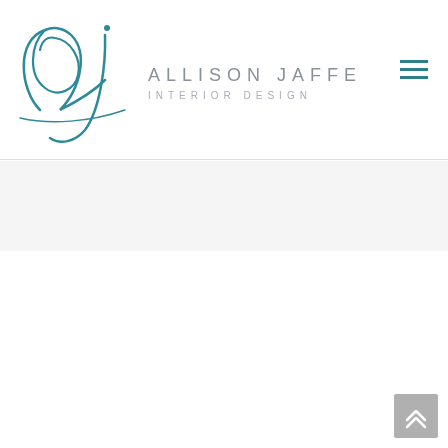[Figure (logo): Allison Jaffe Interior Design logo — stylized 'aj' monogram in teal script alongside 'ALLISON JAFFE / INTERIOR DESIGN' in spaced grey sans-serif lettering]
[Figure (other): Hamburger menu icon — three horizontal teal lines in top-right corner]
[Figure (other): Back-to-top button — grey square with upward chevron arrows in bottom-right corner]